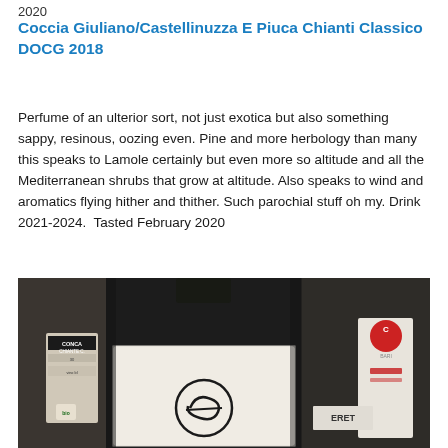2020
Coccia Giuliano/Castellinuzza E Piuca Chianti Classico DOCG 2018
Perfume of an ulterior sort, not just exotica but also something sappy, resinous, oozing even. Pine and more herbology than many this speaks to Lamole certainly but even more so altitude and all the Mediterranean shrubs that grow at altitude. Also speaks to wind and aromatics flying hither and thither. Such parochial stuff oh my. Drink 2021-2024.  Tasted February 2020
[Figure (photo): Photo of wine bottles including a prominent bottle with a white label featuring a stylized 'e' or cursive logo, flanked by other Chianti Classico wine bottles]